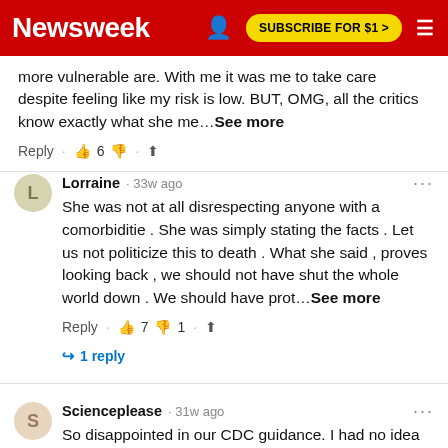Newsweek | SUBSCRIBE FOR $1 >
more vulnerable are. With me it was me to take care despite feeling like my risk is low. BUT, OMG, all the critics know exactly what she me…See more
Lorraine · 33w ago
She was not at all disrespecting anyone with a comorbiditie . She was simply stating the facts . Let us not politicize this to death . What she said , proves looking back , we should not have shut the whole world down . We should have prot…See more
↩ 1 reply
Scienceplease · 31w ago
So disappointed in our CDC guidance. I had no idea how very different from...